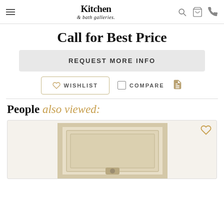Kitchen & Bath Galleries — navigation header with menu, logo, search, cart, phone icons
Call for Best Price
REQUEST MORE INFO
WISHLIST  COMPARE  (print icon)
People also viewed:
[Figure (photo): Product image of a cream/beige cabinet door with raised panel detail and a decorative handle, shown inside a product card with a heart/wishlist icon]